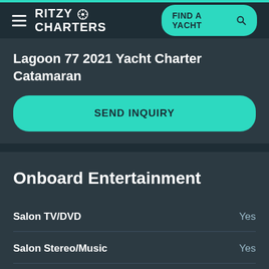RITZY CHARTERS | FIND A YACHT
Lagoon 77 2021 Yacht Charter Catamaran
SEND INQUIRY
Onboard Entertainment
| Feature | Value |
| --- | --- |
| Salon TV/DVD | Yes |
| Salon Stereo/Music | Yes |
| Board Games | Yes |